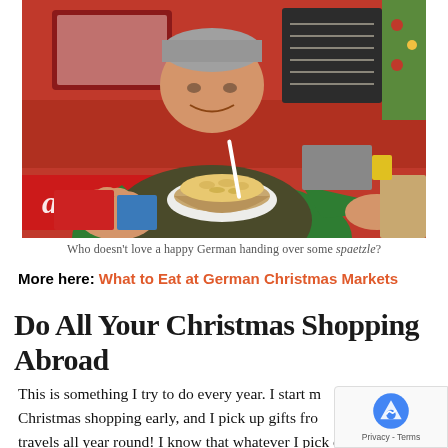[Figure (photo): A smiling man wearing a green hoodie and olive vest holding out a wooden bowl of spaetzle (German egg noodles) with a plastic fork. Background shows a red market stall with Coca-Cola branding, a chalkboard menu, and Christmas decorations.]
Who doesn't love a happy German handing over some spaetzle?
More here: What to Eat at German Christmas Markets
Do All Your Christmas Shopping Abroad
This is something I try to do every year. I start my Christmas shopping early, and I pick up gifts from my travels all year round! I know that whatever I pick out